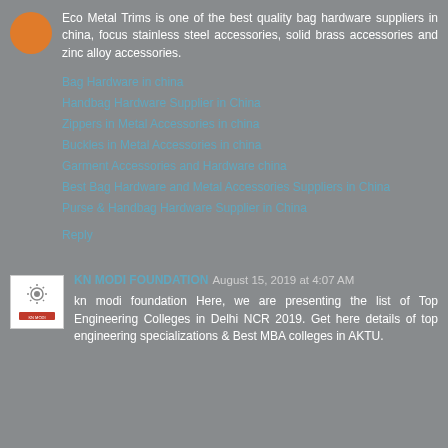Eco Metal Trims is one of the best quality bag hardware suppliers in china, focus stainless steel accessories, solid brass accessories and zinc alloy accessories.
Bag Hardware in china
Handbag Hardware Supplier in China
Zippers in Metal Accessories in china
Buckles in Metal Accessories in china
Garment Accessories and Hardware china
Best Bag Hardware and Metal Accessories Suppliers in China
Purse & Handbag Hardware Supplier in China
Reply
KN MODI FOUNDATION August 15, 2019 at 4:07 AM
kn modi foundation Here, we are presenting the list of Top Engineering Colleges in Delhi NCR 2019. Get here details of top engineering specializations & Best MBA colleges in AKTU.